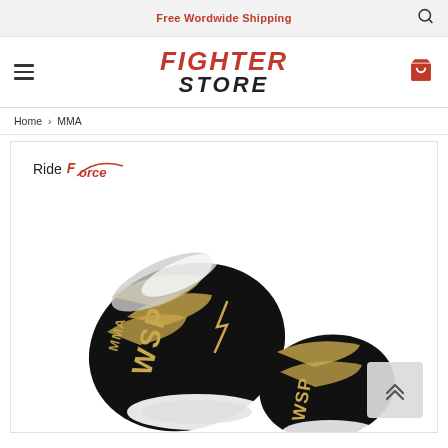Free Wordwide Shipping
[Figure (logo): Fighter Store logo with hamburger menu and cart icon]
Home > MMA
[Figure (photo): Black and gold MMA boxing gloves with 'WSP MMA' branding, displayed with Ride Force brand logo in top left corner. A back-to-top arrow button is visible in the bottom right.]